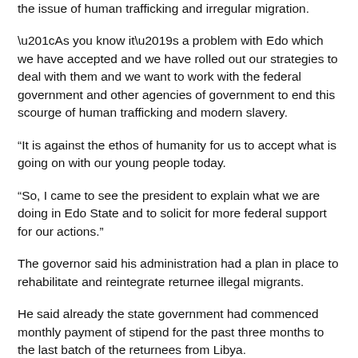the issue of human trafficking and irregular migration.
“As you know it’s a problem with Edo which we have accepted and we have rolled out our strategies to deal with them and we want to work with the federal government and other agencies of government to end this scourge of human trafficking and modern slavery.
“It is against the ethos of humanity for us to accept what is going on with our young people today.
“So, I came to see the president to explain what we are doing in Edo State and to solicit for more federal support for our actions.”
The governor said his administration had a plan in place to rehabilitate and reintegrate returnee illegal migrants.
He said already the state government had commenced monthly payment of stipend for the past three months to the last batch of the returnees from Libya.